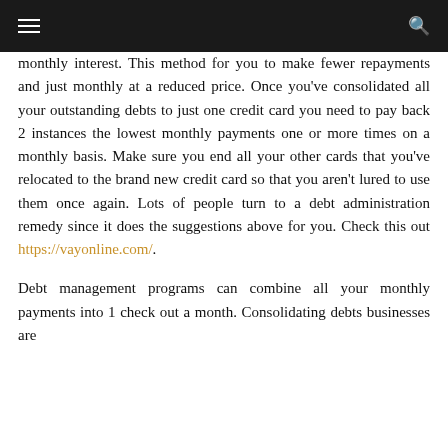≡  🔍
monthly interest. This method for you to make fewer repayments and just monthly at a reduced price. Once you've consolidated all your outstanding debts to just one credit card you need to pay back 2 instances the lowest monthly payments one or more times on a monthly basis. Make sure you end all your other cards that you've relocated to the brand new credit card so that you aren't lured to use them once again. Lots of people turn to a debt administration remedy since it does the suggestions above for you. Check this out https://vayonline.com/.
Debt management programs can combine all your monthly payments into 1 check out a month. Consolidating debts businesses are